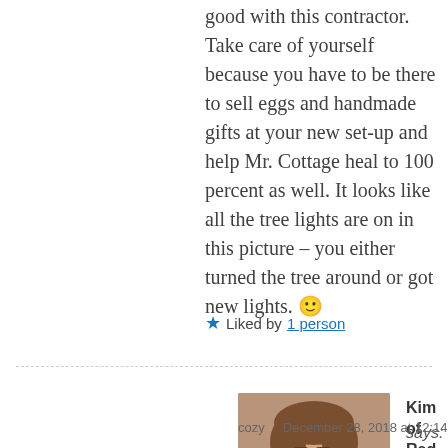good with this contractor. Take care of yourself because you have to be there to sell eggs and handmade gifts at your new set-up and help Mr. Cottage heal to 100 percent as well. It looks like all the tree lights are on in this picture – you either turned the tree around or got new lights. 🙂
★ Liked by 1 person
Kim of Red Dirt Farm says: Hi Linda – We love our cozy   December 28, 2018 at 12:14 pm